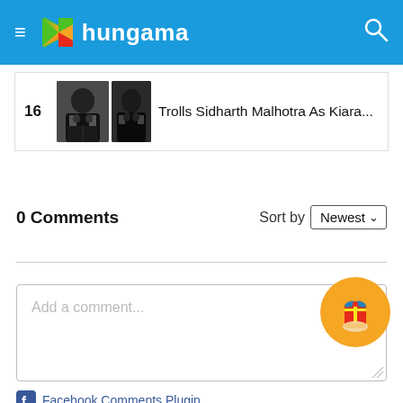hungama
[Figure (screenshot): Thumbnail image of two men, partially cropped, with text: Trolls Sidharth Malhotra As Kiara...]
0 Comments    Sort by Newest
Add a comment...
Facebook Comments Plugin